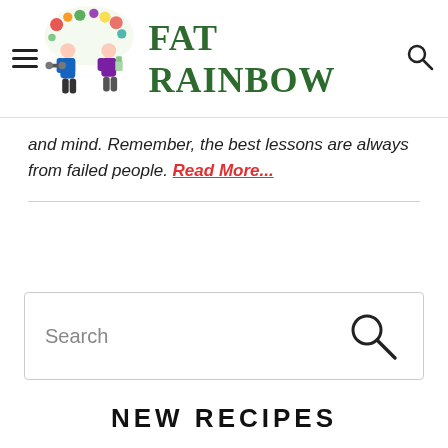FAT RAINBOW
and mind. Remember, the best lessons are always from failed people. Read More...
[Figure (other): Search bar with search icon]
NEW RECIPES